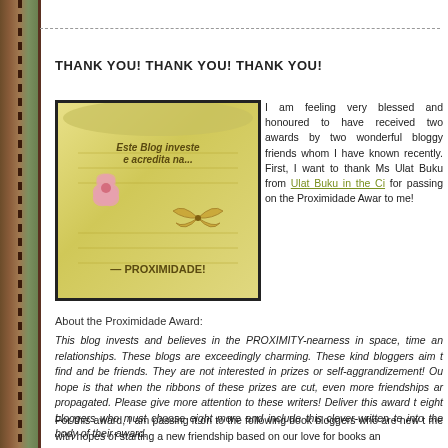THANK YOU! THANK YOU! THANK YOU!
[Figure (illustration): Proximidade blog award image showing a scroll with butterfly and flower decorations, text reads 'Este Blog investe e acredita na... PROXIMIDADE!']
I am feeling very blessed and honoured to have received two awards by two wonderful bloggy friends whom I have known recently. First, I want to thank Ms Ulat Buku from Ulat Buku in the City for passing on the Proximidade Award to me!
About the Proximidade Award:
This blog invests and believes in the PROXIMITY-nearness in space, time and relationships. These blogs are exceedingly charming. These kind bloggers aim to find and be friends. They are not interested in prizes or self-aggrandizement! Our hope is that when the ribbons of these prizes are cut, even more friendships are propagated. Please give more attention to these writers! Deliver this award to eight bloggers who must choose eight more and include this clever-written text into the body of their award.
For this award, I am passing it on to the following book bloggers who are new to me with hopes of starting a new friendship based on our love for books and